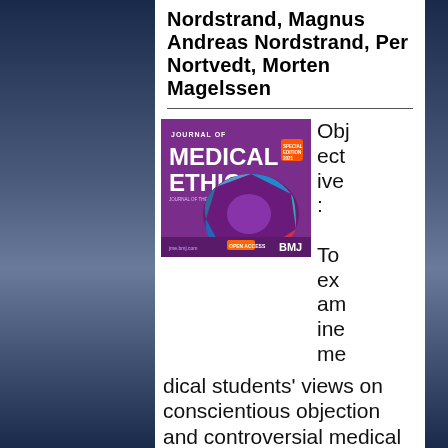Nordstrand, Magnus Andreas Nordstrand, Per Nortvedt, Morten Magelssen
[Figure (photo): Cover image of Journal of Medical Ethics, showing a purple circular design with medical imaging photos and the BMJ publisher logo.]
Objective: To examine medical students' views on conscientious objection and controversial medical